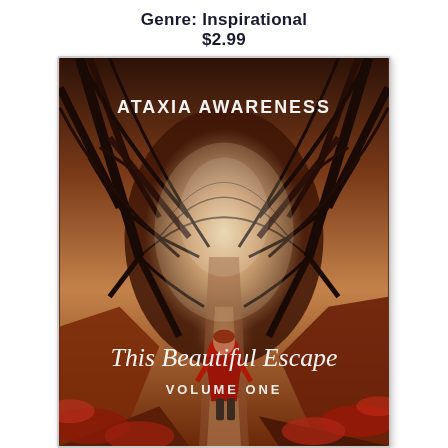Genre: Inspirational
$2.99
[Figure (illustration): Book cover of 'This Beautiful Escape Volume One' by Ataxia Awareness. Features a woman in a red dress walking away down a misty forest path with autumn-red leaves, bare trees arching overhead forming a tunnel toward a bright glow in the distance. Title text in white cursive at bottom reads 'This Beautiful Escape VOLUME ONE'. Author name 'ATAXIA AWARENESS' in white caps at top.]